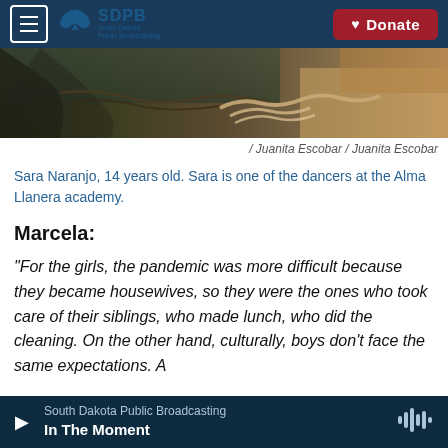SDPB South Dakota Public Broadcasting | Donate
[Figure (photo): Close-up photo of hands near water and dirt/roots, warm tones]
/ Juanita Escobar / Juanita Escobar
Sara Naranjo, 14 years old. Sara is one of the dancers at the Alma Llanera academy.
Marcela:
"For the girls, the pandemic was more difficult because they became housewives, so they were the ones who took care of their siblings, who made lunch, who did the cleaning. On the other hand, culturally, boys don't face the same expectations. A
South Dakota Public Broadcasting | In The Moment